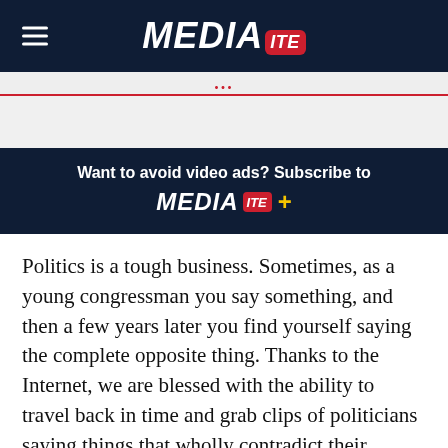MEDIAITE
[Figure (screenshot): Gray block placeholder area below dots bar]
Want to avoid video ads? Subscribe to MEDIAITE +
Politics is a tough business. Sometimes, as a young congressman you say something, and then a few years later you find yourself saying the complete opposite thing. Thanks to the Internet, we are blessed with the ability to travel back in time and grab clips of politicians saying things that wholly contradict their current positions.
Today’s Throwback Thursday comes as Republicans